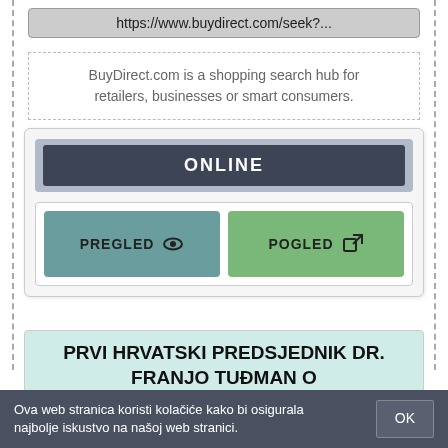https://www.buydirect.com/seek?...
BuyDirect.com is a shopping search hub for retailers, businesses or smart consumers.
[Figure (screenshot): A UI card showing ONLINE status with two buttons: PREGLED (with eye icon) and POGLED (with external link icon)]
PRVI HRVATSKI PREDSJEDNIK DR. FRANJO TUĐMAN O
Ova web stranica koristi kolačiće kako bi osigurala najbolje iskustvo na našoj web stranici.